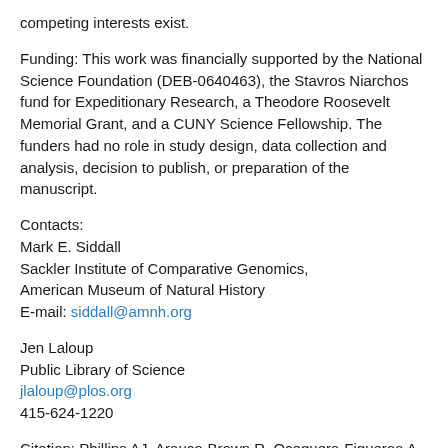competing interests exist.
Funding: This work was financially supported by the National Science Foundation (DEB-0640463), the Stavros Niarchos fund for Expeditionary Research, a Theodore Roosevelt Memorial Grant, and a CUNY Science Fellowship. The funders had no role in study design, data collection and analysis, decision to publish, or preparation of the manuscript.
Contacts:
Mark E. Siddall
Sackler Institute of Comparative Genomics,
American Museum of Natural History
E-mail: siddall@amnh.org
Jen Laloup
Public Library of Science
jlaloup@plos.org
415-624-1220
Citation: Phillips AJ, Arauco-Brown R, Oceguera-Figueroa A,